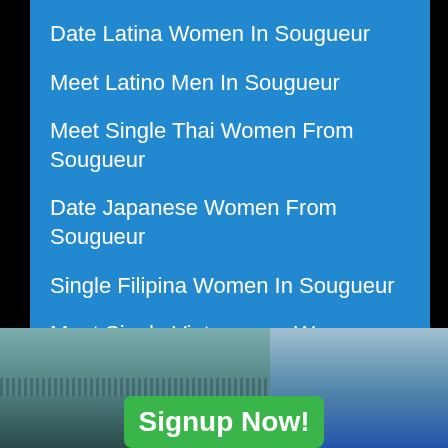Date Latina Women In Sougueur
Meet Latino Men In Sougueur
Meet Single Thai Women From Sougueur
Date Japanese Women From Sougueur
Single Filipina Women In Sougueur
Meet Single Vietnamese Women From Sougueur
Single Healthy Girls In Sougueur
Date Korean Women In Sougueur
[Figure (photo): Bottom portion showing two photos side by side with a green Signup Now! button overlay]